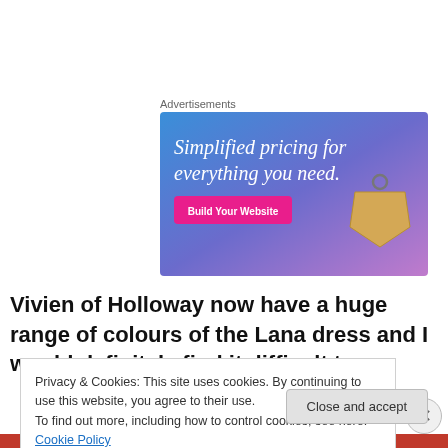Advertisements
[Figure (illustration): Advertisement banner with gradient blue-purple background, text 'Simplified pricing for everything you need.' in white serif font, a pink 'Build Your Website' button, and a price tag graphic on the right.]
Vivien of Holloway now have a huge range of colours of the Lana dress and I would definitely find it difficult to
Privacy & Cookies: This site uses cookies. By continuing to use this website, you agree to their use.
To find out more, including how to control cookies, see here: Cookie Policy
Close and accept